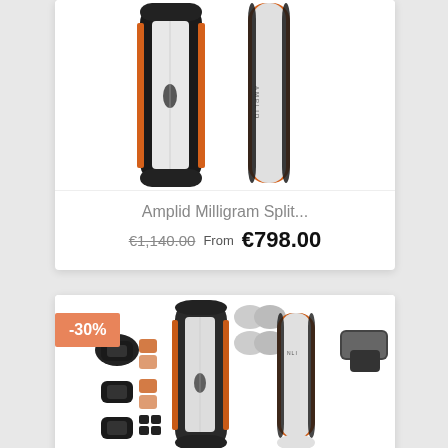[Figure (photo): Product photo of Amplid Milligram splitboard — two views of a snowboard showing black textured top/binding area with orange sidewalls and white base]
Amplid Milligram Split...
€1,140.00 From €798.00
[Figure (photo): Product photo of snowboard bundle with -30% discount badge — shows splitboard, bindings, skins and accessories arranged together; board has black textured deck with orange edge and white base]